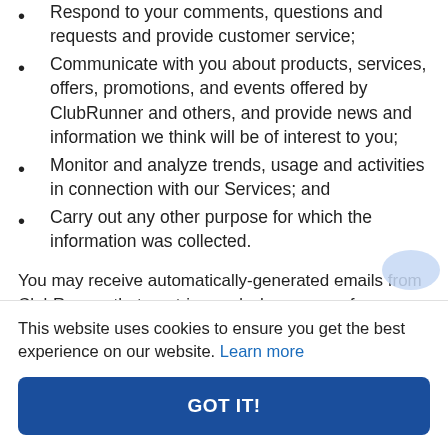Respond to your comments, questions and requests and provide customer service;
Communicate with you about products, services, offers, promotions, and events offered by ClubRunner and others, and provide news and information we think will be of interest to you;
Monitor and analyze trends, usage and activities in connection with our Services; and
Carry out any other purpose for which the information was collected.
You may receive automatically-generated emails from ClubRunner that are triggered when you perform certain
This website uses cookies to ensure you get the best experience on our website. Learn more
GOT IT!